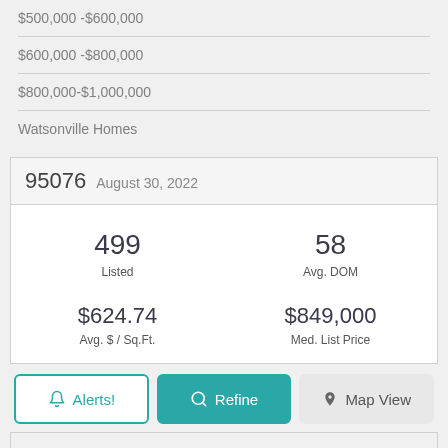$500,000 -$600,000
$600,000 -$800,000
$800,000-$1,000,000
Watsonville Homes
95076  August 30, 2022
| Listed | Avg. DOM | Avg. $ / Sq.Ft. | Med. List Price |
| --- | --- | --- | --- |
| 499 | 58 | $624.74 | $849,000 |
Alerts! | Refine | Map View